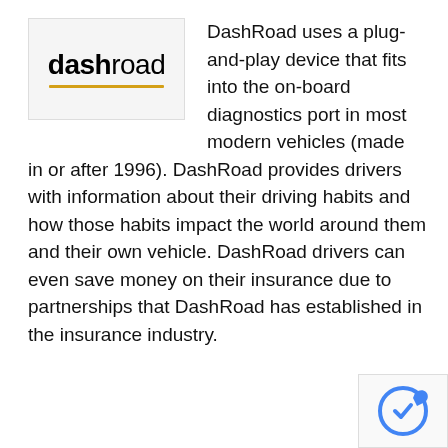[Figure (logo): DashRoad logo: bold 'dash' followed by normal-weight 'road', with a gold/yellow underline beneath]
DashRoad uses a plug-and-play device that fits into the on-board diagnostics port in most modern vehicles (made in or after 1996). DashRoad provides drivers with information about their driving habits and how those habits impact the world around them and their own vehicle. DashRoad drivers can even save money on their insurance due to partnerships that DashRoad has established in the insurance industry.